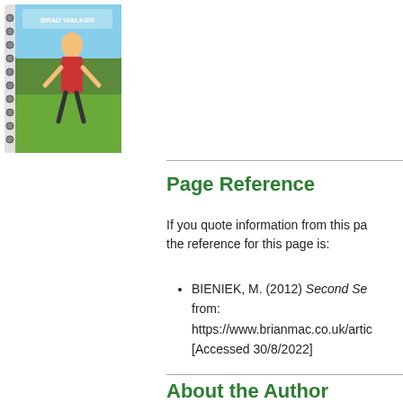[Figure (photo): Spiral-bound book cover showing a person exercising outdoors, placed in the top-left corner of the page.]
Page Reference
If you quote information from this page, the reference for this page is:
BIENIEK, M. (2012) Second Se... from: https://www.brianmac.co.uk/artic... [Accessed 30/8/2022]
About the Author